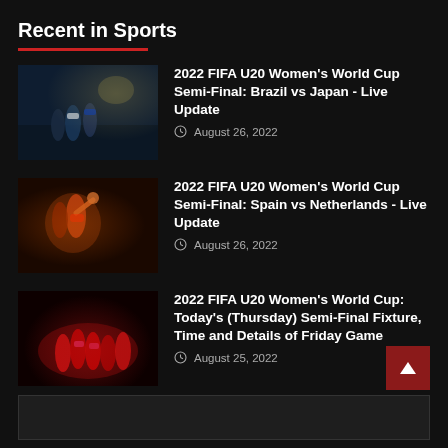Recent in Sports
2022 FIFA U20 Women's World Cup Semi-Final: Brazil vs Japan - Live Update
August 26, 2022
2022 FIFA U20 Women's World Cup Semi-Final: Spain vs Netherlands - Live Update
August 26, 2022
2022 FIFA U20 Women's World Cup: Today's (Thursday) Semi-Final Fixture, Time and Details of Friday Game
August 25, 2022
Send us your Feedback
[Figure (other): Back to top button (dark red square with upward arrow)]
Text input area for feedback